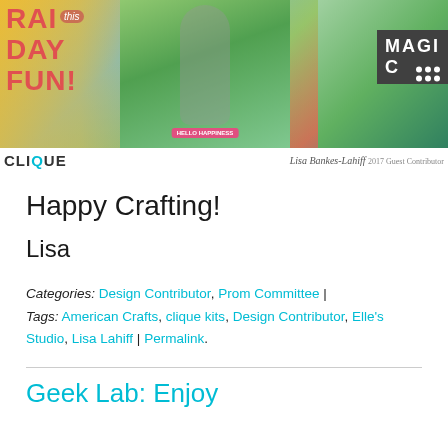[Figure (photo): Scrapbook layout photo showing children playing outdoors with colorful decorative elements, text reading RAINY DAY FUN, and a 'MAGIC' sign. Credit to Lisa Bankes-Lahiff, 2017 Guest Contributor. Clique Kits logo at bottom left.]
Happy Crafting!
Lisa
Categories: Design Contributor, Prom Committee | Tags: American Crafts, clique kits, Design Contributor, Elle's Studio, Lisa Lahiff | Permalink.
Geek Lab: Enjoy